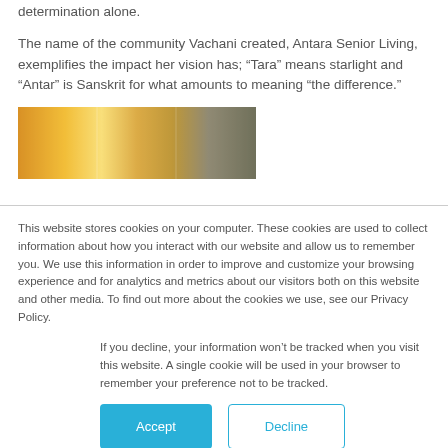determination alone.
The name of the community Vachani created, Antara Senior Living, exemplifies the impact her vision has; “Tara” means starlight and “Antar” is Sanskrit for what amounts to meaning “the difference.”
[Figure (photo): A warm-toned photo strip showing people or outdoor scene with golden/orange sunlight tones]
This website stores cookies on your computer. These cookies are used to collect information about how you interact with our website and allow us to remember you. We use this information in order to improve and customize your browsing experience and for analytics and metrics about our visitors both on this website and other media. To find out more about the cookies we use, see our Privacy Policy.
If you decline, your information won’t be tracked when you visit this website. A single cookie will be used in your browser to remember your preference not to be tracked.